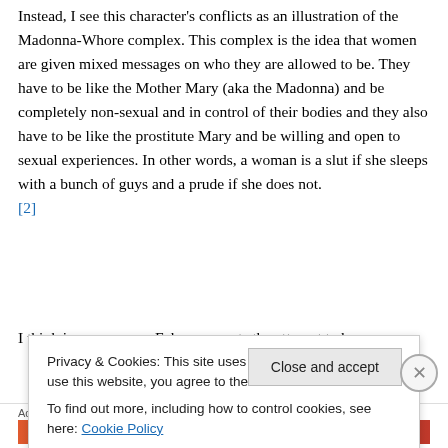Instead, I see this character's conflicts as an illustration of the Madonna-Whore complex. This complex is the idea that women are given mixed messages on who they are allowed to be. They have to be like the Mother Mary (aka the Madonna) and be completely non-sexual and in control of their bodies and they also have to be like the prostitute Mary and be willing and open to sexual experiences. In other words, a woman is a slut if she sleeps with a bunch of guys and a prude if she does not. [2]
I think in some ways, Esla represents the attempt to be
Privacy & Cookies: This site uses cookies. By continuing to use this website, you agree to their use. To find out more, including how to control cookies, see here: Cookie Policy
Close and accept
Advertisements